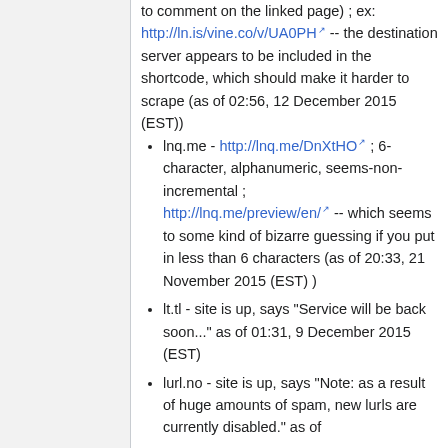to comment on the linked page) ; ex: http://ln.is/vine.co/v/UA0PH -- the destination server appears to be included in the shortcode, which should make it harder to scrape (as of 02:56, 12 December 2015 (EST))
lnq.me - http://lnq.me/DnXtHO ; 6-character, alphanumeric, seems-non-incremental ; http://lnq.me/preview/en/ -- which seems to some kind of bizarre guessing if you put in less than 6 characters (as of 20:33, 21 November 2015 (EST) )
lt.tl - site is up, says "Service will be back soon..." as of 01:31, 9 December 2015 (EST)
lurl.no - site is up, says "Note: as a result of huge amounts of spam, new lurls are currently disabled." as of